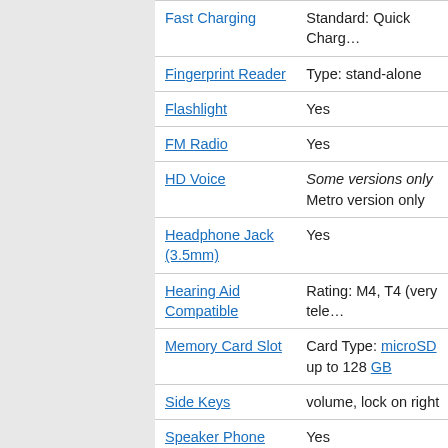| Feature | Detail |
| --- | --- |
| Fast Charging | Standard: Quick Charg… |
| Fingerprint Reader | Type: stand-alone |
| Flashlight | Yes |
| FM Radio | Yes |
| HD Voice | Some versions only Metro version only |
| Headphone Jack (3.5mm) | Yes |
| Hearing Aid Compatible | Rating: M4, T4 (very tele… |
| Memory Card Slot | Card Type: microSD up to 128 GB |
| Side Keys | volume, lock on right |
| Speaker Phone | Yes |
| Touch Screen | Type: Capacitive |
| TTY/TDD (Digital) | Yes |
| USB | Connector: USB Type C… |
| Wi-Fi | Version: 5 (802.11 a,ac,… |
More